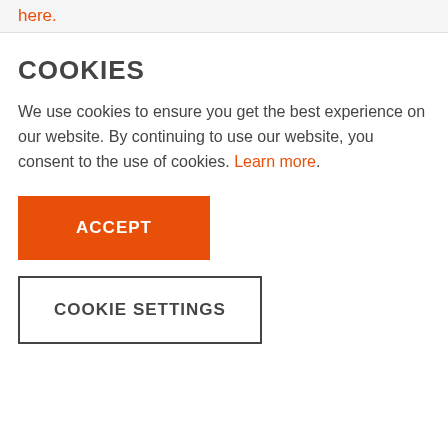here.
COOKIES
We use cookies to ensure you get the best experience on our website. By continuing to use our website, you consent to the use of cookies. Learn more.
ACCEPT
COOKIE SETTINGS